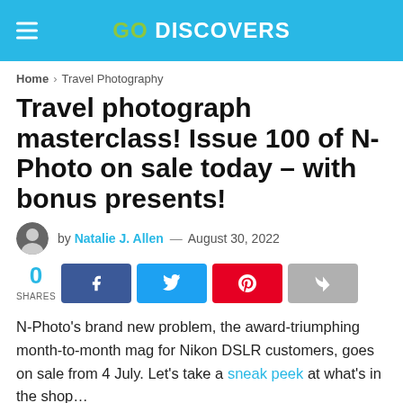GO DISCOVERS
Home > Travel Photography
Travel photograph masterclass! Issue 100 of N-Photo on sale today – with bonus presents!
by Natalie J. Allen — August 30, 2022
[Figure (infographic): Social share buttons: 0 SHARES, Facebook, Twitter, Pinterest, Share]
N-Photo's brand new problem, the award-triumphing month-to-month mag for Nikon DSLR customers, goes on sale from 4 July. Let's take a sneak peek at what's in the shop…